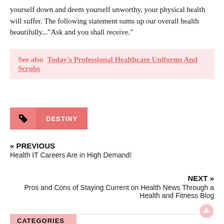yourself down and deem yourself unworthy, your physical health will suffer. The following statement sums up our overall health beautifully..."Ask and you shall receive."
See also  Today's Professional Healthcare Uniforms And Scrubs
DESTINY
« PREVIOUS
Health IT Careers Are in High Demand!
NEXT »
Pros and Cons of Staying Current on Health News Through a Health and Fitness Blog
CATEGORIES